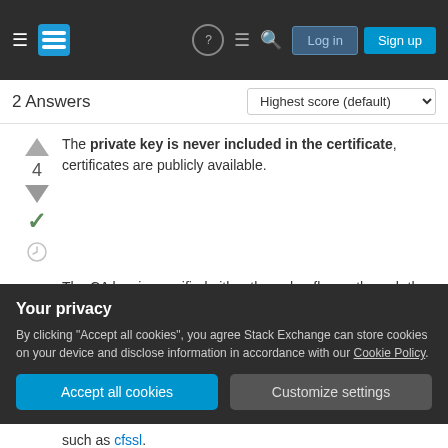Stack Exchange — Log in | Sign up
2 Answers
The private key is never included in the certificate, certificates are publicly available.
The CA key is specified either through a flag or through the config file. When none is specified, the default config file is used (depends on how openssl was built) which points to $dir/private/cakey.pem for the private key (at least mine does, mileage may vary).
Your privacy
By clicking "Accept all cookies", you agree Stack Exchange can store cookies on your device and disclose information in accordance with our Cookie Policy.
such as cfssl.